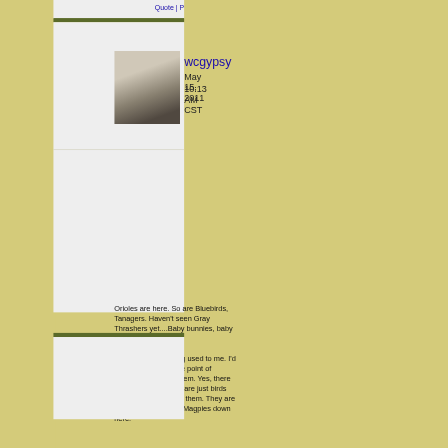Quote | P
[Figure (photo): Forum avatar of wcgypsy: woman with long dark hair, hands raised]
wcgypsy
May 15, 2011
10:13 AM CST
Orioles are here. So are Bluebirds, Tanagers. Haven't seen Gray Thrashers yet....Baby bunnies, baby possums.
The crows are getting used to me. I'd like to get them to the point of coming when I call them. Yes, there are a lot of them that are just birds until you interact with them. They are so da... Wish we got Magpies down here.
Quote | P
[Figure (photo): Forum avatar of quiltygirl: colorful quilt pattern with green leaf motifs]
quiltygirl
May 16, 2011
8:18 AM CST
Wildo